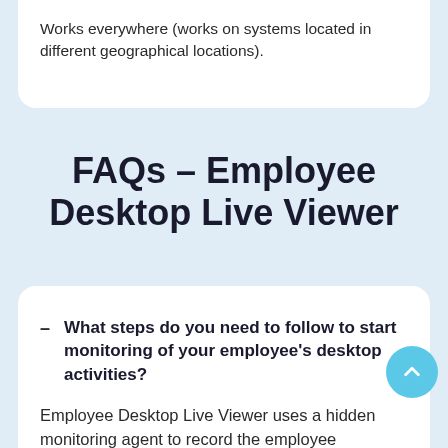Works everywhere (works on systems located in different geographical locations).
FAQs - Employee Desktop Live Viewer
What steps do you need to follow to start monitoring of your employee's desktop activities?
Employee Desktop Live Viewer uses a hidden monitoring agent to record the employee